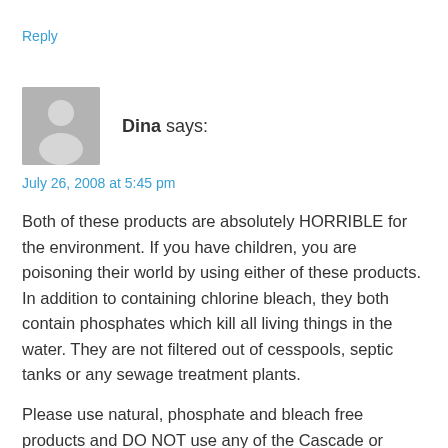Reply
[Figure (illustration): Generic grey avatar silhouette of a person, square with rounded corners]
Dina says:
July 26, 2008 at 5:45 pm
Both of these products are absolutely HORRIBLE for the environment. If you have children, you are poisoning their world by using either of these products. In addition to containing chlorine bleach, they both contain phosphates which kill all living things in the water. They are not filtered out of cesspools, septic tanks or any sewage treatment plants.
Please use natural, phosphate and bleach free products and DO NOT use any of the Cascade or